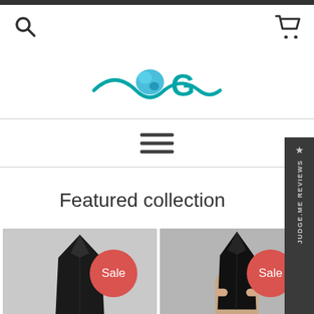[Figure (logo): Wavy teal line logo with blue gemstone element and stylized 'G' letter]
Featured collection
[Figure (photo): Black crystal tower/point on grey background with red Sale badge]
[Figure (photo): Black obsidian crystal tower held by fingers on grey background with red Sale badge]